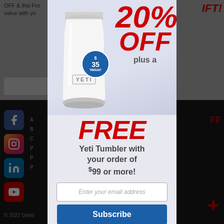[Figure (screenshot): Background page showing partial website content with social media icons (Facebook, Instagram, LinkedIn, YouTube) on dark footer, gray header area with partial text, and a promotional popup modal overlay.]
20% OFF plus a FREE Yeti Tumbler with your order of $99 or more!
Enter your email address
Subscribe
No, thank you.